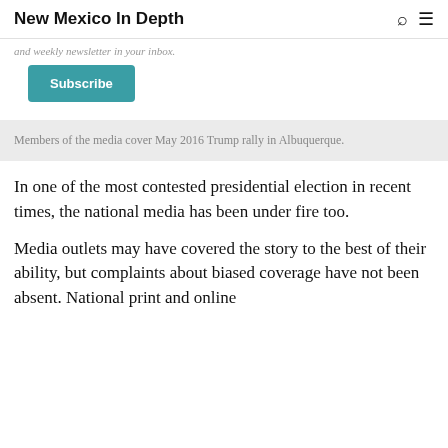New Mexico In Depth
and weekly newsletter in your inbox.
Subscribe
Members of the media cover May 2016 Trump rally in Albuquerque.
In one of the most contested presidential election in recent times, the national media has been under fire too.
Media outlets may have covered the story to the best of their ability, but complaints about biased coverage have not been absent. National print and online publications, as well as various TV networks, have...